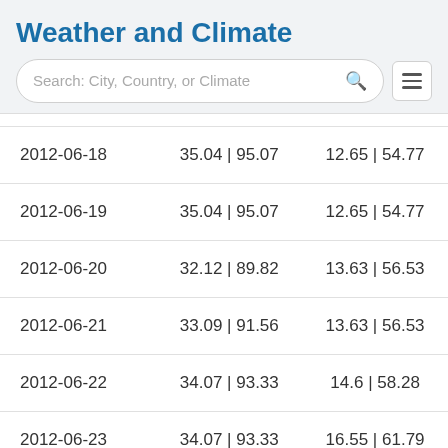Weather and Climate
[Figure (screenshot): Search bar with placeholder 'Search: City, Country, or Climate' and a hamburger menu icon]
| Date | Temp °C | °F | Dew Point °C | °F |
| --- | --- | --- |
| 2012-06-18 | 35.04 | 95.07 | 12.65 | 54.77 |
| 2012-06-19 | 35.04 | 95.07 | 12.65 | 54.77 |
| 2012-06-20 | 32.12 | 89.82 | 13.63 | 56.53 |
| 2012-06-21 | 33.09 | 91.56 | 13.63 | 56.53 |
| 2012-06-22 | 34.07 | 93.33 | 14.6 | 58.28 |
| 2012-06-23 | 34.07 | 93.33 | 16.55 | 61.79 |
| 2012-06-24 | 34.07 | 93.33 | 16.55 | 61.79 |